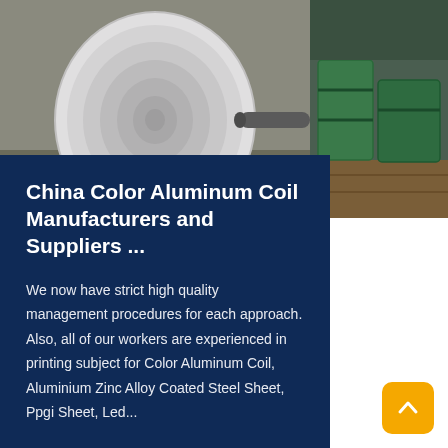[Figure (photo): Large white aluminum coil roll on industrial equipment in a factory setting (left), and green-wrapped metal coils stacked in a warehouse (right).]
China Color Aluminum Coil Manufacturers and Suppliers ...
We now have strict high quality management procedures for each approach. Also, all of our workers are experienced in printing subject for Color Aluminum Coil, Aluminium Zinc Alloy Coated Steel Sheet, Ppgi Sheet, Led...
Read More
[Figure (other): Yellow back-to-top arrow button]